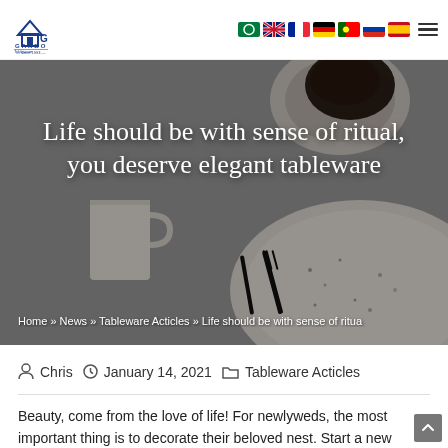Garbo Tableware — since 1993 | Navigation flags | Menu
Life should be with sense of ritual, you deserve elegant tableware
Home » News » Tableware Acticles » Life should be with sense of ritua
Chris  January 14, 2021  Tableware Acticles
Beauty, come from the love of life! For newlyweds, the most important thing is to decorate their beloved nest. Start a new